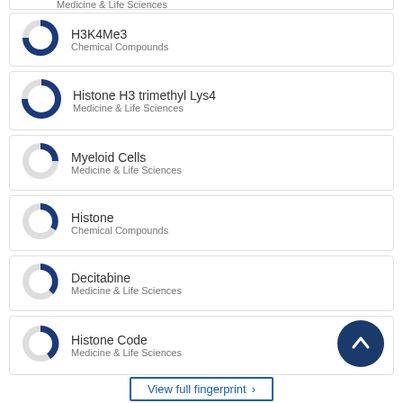Medicine & Life Sciences
H3K4Me3
Chemical Compounds
Histone H3 trimethyl Lys4
Medicine & Life Sciences
Myeloid Cells
Medicine & Life Sciences
Histone
Chemical Compounds
Decitabine
Medicine & Life Sciences
Histone Code
Medicine & Life Sciences
View full fingerprint >